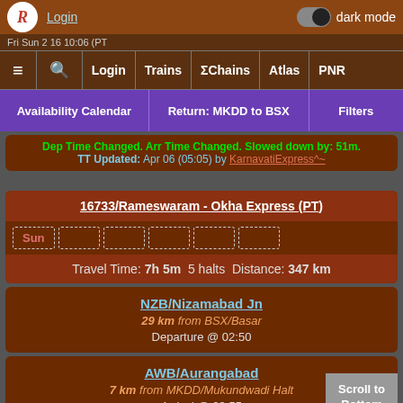Login | dark mode toggle
≡ 🔍 Login Trains ΣChains Atlas PNR
Availability Calendar | Return: MKDD to BSX | Filters
Dep Time Changed. Arr Time Changed. Slowed down by: 51m. TT Updated: Apr 06 (05:05) by KarnavatiExpress^~
16733/Rameswaram - Okha Express (PT)
Sun (days row)
Travel Time: 7h 5m  5 halts  Distance: 347 km
NZB/Nizamabad Jn
29 km from BSX/Basar
Departure @ 02:50
AWB/Aurangabad
7 km from MKDD/Mukundwadi Halt
Arrival @ 09:55